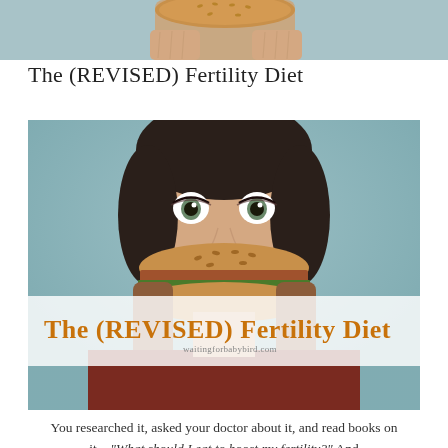[Figure (photo): Cropped top portion of a woman holding a burger up to the top of frame, soft teal background]
The (REVISED) Fertility Diet
[Figure (photo): Woman with wide surprised eyes holding a hamburger up to her face covering her mouth/nose, teal background. Overlaid text banner reads 'The (REVISED) Fertility Diet' in bold orange, and below it 'waitingforbabybid.com' in small text.]
You researched it, asked your doctor about it, and read books on it... "What should I eat to boost my fertility?" And